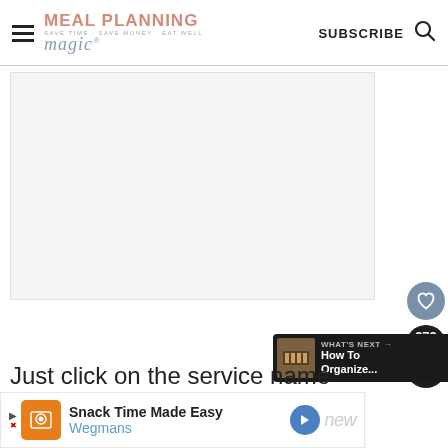MEAL PLANNING magic® SUBSCRIBE [search icon]
[Figure (photo): Large content image area (white/blank), with social sharing sidebar: heart/like button and share button showing count 272. What's Next banner showing 'How To Organize...' thumbnail.]
Just click on the service name
Snack Time Made Easy Wegmans [advertisement banner]